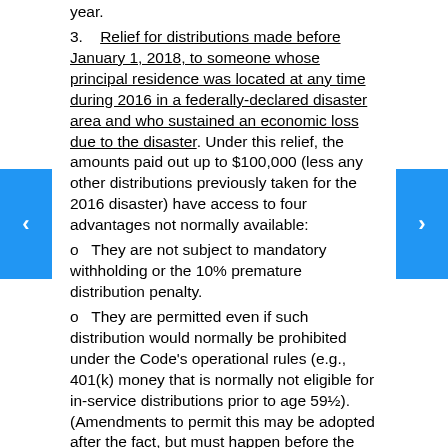year.
3.   Relief for distributions made before January 1, 2018, to someone whose principal residence was located at any time during 2016 in a federally-declared disaster area and who sustained an economic loss due to the disaster. Under this relief, the amounts paid out up to $100,000 (less any other distributions previously taken for the 2016 disaster) have access to four advantages not normally available:
o   They are not subject to mandatory withholding or the 10% premature distribution penalty.
o   They are permitted even if such distribution would normally be prohibited under the Code's operational rules (e.g., 401(k) money that is normally not eligible for in-service distributions prior to age 59½).  (Amendments to permit this may be adopted after the fact, but must happen before the end of the plan's 2018 year.)
o   The income tax bite on the distribution may be spread over three years, rather than totally payable in the